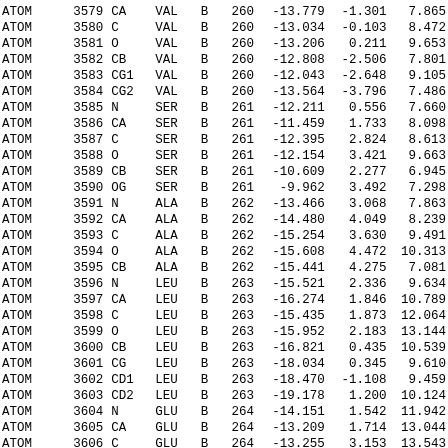| ATOM | serial | name | resName | chainID | resSeq | x | y | z |
| --- | --- | --- | --- | --- | --- | --- | --- | --- |
| ATOM | 3579 | CA | VAL | B | 260 | -13.779 | -1.301 | 7.865 |
| ATOM | 3580 | C | VAL | B | 260 | -13.034 | -0.103 | 8.472 |
| ATOM | 3581 | O | VAL | B | 260 | -13.206 | 0.211 | 9.653 |
| ATOM | 3582 | CB | VAL | B | 260 | -12.808 | -2.506 | 7.801 |
| ATOM | 3583 | CG1 | VAL | B | 260 | -12.043 | -2.648 | 9.105 |
| ATOM | 3584 | CG2 | VAL | B | 260 | -13.564 | -3.796 | 7.486 |
| ATOM | 3585 | N | SER | B | 261 | -12.211 | 0.556 | 7.660 |
| ATOM | 3586 | CA | SER | B | 261 | -11.459 | 1.733 | 8.098 |
| ATOM | 3587 | C | SER | B | 261 | -12.395 | 2.824 | 8.613 |
| ATOM | 3588 | O | SER | B | 261 | -12.154 | 3.421 | 9.663 |
| ATOM | 3589 | CB | SER | B | 261 | -10.609 | 2.277 | 6.945 |
| ATOM | 3590 | OG | SER | B | 261 | -9.962 | 3.492 | 7.298 |
| ATOM | 3591 | N | ALA | B | 262 | -13.466 | 3.068 | 7.863 |
| ATOM | 3592 | CA | ALA | B | 262 | -14.480 | 4.049 | 8.239 |
| ATOM | 3593 | C | ALA | B | 262 | -15.254 | 3.630 | 9.491 |
| ATOM | 3594 | O | ALA | B | 262 | -15.608 | 4.472 | 10.313 |
| ATOM | 3595 | CB | ALA | B | 262 | -15.441 | 4.275 | 7.081 |
| ATOM | 3596 | N | LEU | B | 263 | -15.521 | 2.336 | 9.634 |
| ATOM | 3597 | CA | LEU | B | 263 | -16.274 | 1.846 | 10.789 |
| ATOM | 3598 | C | LEU | B | 263 | -15.435 | 1.873 | 12.064 |
| ATOM | 3599 | O | LEU | B | 263 | -15.952 | 2.183 | 13.144 |
| ATOM | 3600 | CB | LEU | B | 263 | -16.821 | 0.435 | 10.539 |
| ATOM | 3601 | CG | LEU | B | 263 | -18.034 | 0.345 | 9.610 |
| ATOM | 3602 | CD1 | LEU | B | 263 | -18.470 | -1.108 | 9.459 |
| ATOM | 3603 | CD2 | LEU | B | 263 | -19.178 | 1.200 | 10.124 |
| ATOM | 3604 | N | GLU | B | 264 | -14.151 | 1.542 | 11.942 |
| ATOM | 3605 | CA | GLU | B | 264 | -13.209 | 1.714 | 13.044 |
| ATOM | 3606 | C | GLU | B | 264 | -13.255 | 3.153 | 13.543 |
| ATOM | 3607 | O | GLU | B | 264 | -13.414 | 3.405 | 14.741 |
| ATOM | 3608 | CB | GLU | B | 264 | -11.782 | 1.389 | 12.594 |